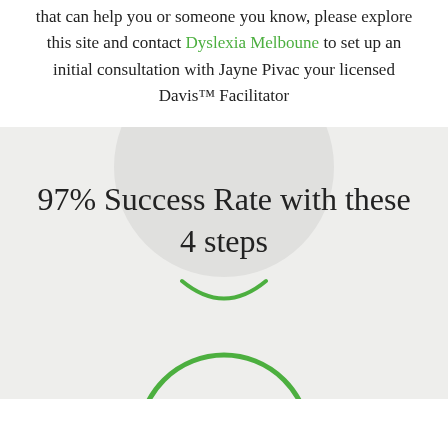that can help you or someone you know, please explore this site and contact Dyslexia Melboune to set up an initial consultation with Jayne Pivac your licensed Davis™ Facilitator
[Figure (infographic): Gray background section with large circle watermark behind text reading '97% Success Rate with these 4 steps' in handwritten font, with a green arc/smile below, and a green circle outline starting at the bottom]